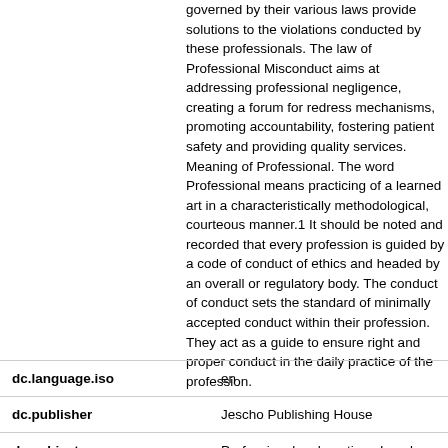governed by their various laws provide solutions to the violations conducted by these professionals. The law of Professional Misconduct aims at addressing professional negligence, creating a forum for redress mechanisms, promoting accountability, fostering patient safety and providing quality services. Meaning of Professional. The word Professional means practicing of a learned art in a characteristically methodological, courteous manner.1 It should be noted and recorded that every profession is guided by a code of conduct of ethics and headed by an overall or regulatory body. The conduct of conduct sets the standard of minimally accepted conduct within their profession. They act as a guide to ensure right and proper conduct in the daily practice of the profession.
| Field | Value |
| --- | --- |
| dc.language.iso | en |
| dc.publisher | Jescho Publishing House |
| dc.subject | Professional malpractice - Legal aspects |